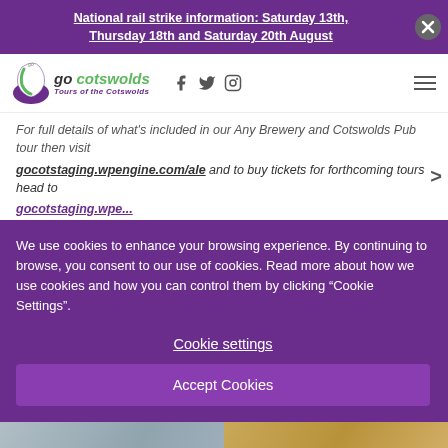National rail strike information: Saturday 13th, Thursday 18th and Saturday 20th August
[Figure (logo): Go Cotswolds Tours of the Cotswolds logo with social media icons (Facebook, Twitter, Instagram) and hamburger menu]
For full details of what's included in our Any Brewery and Cotswolds Pub tour then visit gocotstaging.wpengine.com/ale and to buy tickets for forthcoming tours head to
We use cookies to enhance your browsing experience. By continuing to browse, you consent to our use of cookies. Read more about how we use cookies and how you can control them by clicking "Cookie Settings".
Cookie settings
Accept Cookies